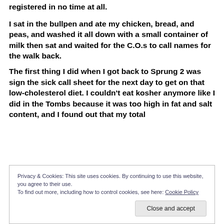registered in no time at all.
I sat in the bullpen and ate my chicken, bread, and peas, and washed it all down with a small container of milk then sat and waited for the C.O.s to call names for the walk back.
The first thing I did when I got back to Sprung 2 was sign the sick call sheet for the next day to get on that low-cholesterol diet. I couldn't eat kosher anymore like I did in the Tombs because it was too high in fat and salt content, and I found out that my total
Privacy & Cookies: This site uses cookies. By continuing to use this website, you agree to their use.
To find out more, including how to control cookies, see here: Cookie Policy
Close and accept